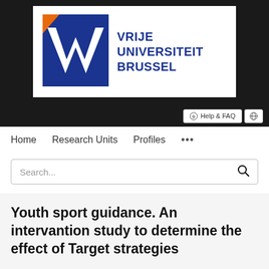[Figure (logo): VUB - Vrije Universiteit Brussel logo with blue square background and white VUB letters with orange accent]
Help & FAQ  [globe icon]
Home   Research Units   Profiles   ...
Search...
Youth sport guidance. An intervantion study to determine the effect of Target strategies